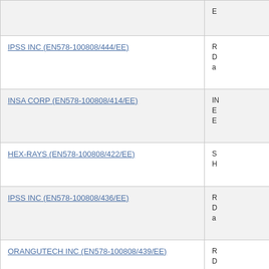| Supplier | Description |
| --- | --- |
|  | E... |
| IPSS INC (EN578-100808/444/EE) | R D a |
| INSA CORP (EN578-100808/414/EE) | IN E E |
| HEX-RAYS (EN578-100808/422/EE) | S H |
| IPSS INC (EN578-100808/436/EE) | R D a |
| ORANGUTECH INC (EN578-100808/439/EE) | R D a |
| OPTIV CANADA FEDERAL INC. (EN578-100808/416/EE) | S 1... |
| FOXWISE TECHNOLOGIES INC (EN578-100808/433/EE) | S F... |